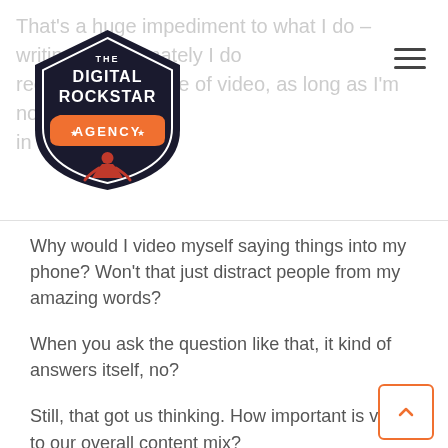The Digital Rockstar Agency — navigation header with logo
That's a huge impediment to what I do – writing, but ultimately I do recognize the value of video, as long as I'm not in it.
Why would I video myself saying things into my phone? Won't that just distract people from my amazing words?
When you ask the question like that, it kind of answers itself, no?
Still, that got us thinking. How important is video to our overall content mix?
It's important, to be sure, but how important?
How about you? If it's absent from your content strategy, do you absolutely need to add it? How